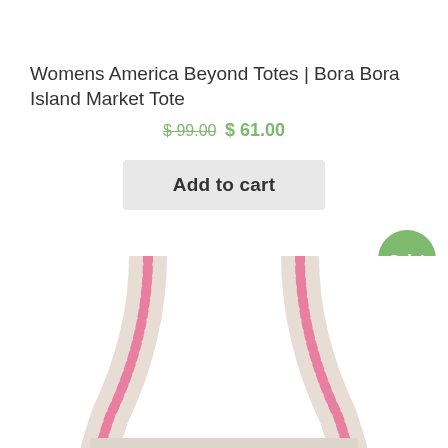Womens America Beyond Totes | Bora Bora Island Market Tote
$ 99.00 $ 61.00
Add to cart
[Figure (photo): Partial view of a cream-colored canvas tote bag with pink stripe detailing on the handles, photographed from above showing the handles and top of the bag.]